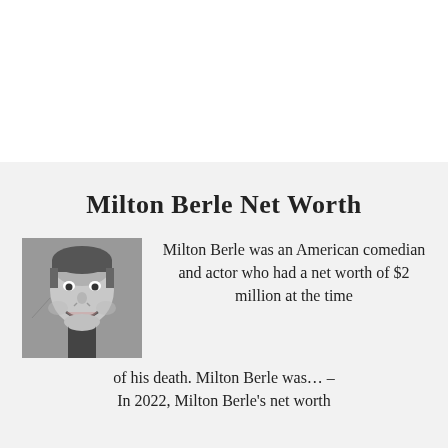Milton Berle Net Worth
[Figure (photo): Black and white portrait photo of Milton Berle smiling]
Milton Berle was an American comedian and actor who had a net worth of $2 million at the time of his death. Milton Berle was… – In 2022, Milton Berle's net worth